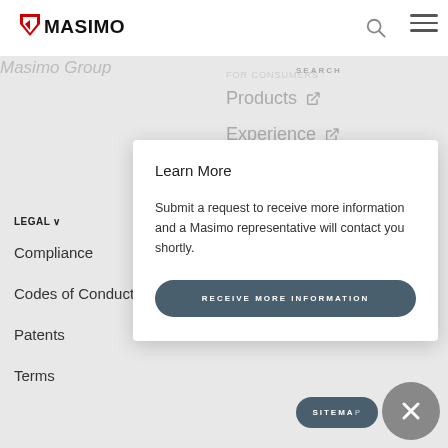[Figure (screenshot): Masimo website screenshot showing navigation overlay with Learn More modal dialog. Logo visible top-left, hamburger menu top-right, greyed navigation items (Products, Experience, Education), left sidebar showing LEGAL menu with Compliance, Codes of Conduct, Patents, Terms. White modal card in center with Learn More heading, descriptive text, and RECEIVE MORE INFORMATION button. Close X button and SITEMAP button at bottom right.]